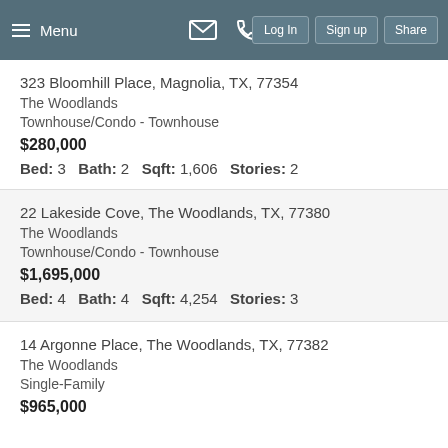Menu | Log In | Sign up | Share
323 Bloomhill Place, Magnolia, TX, 77354
The Woodlands
Townhouse/Condo - Townhouse
$280,000
Bed: 3  Bath: 2  Sqft: 1,606  Stories: 2
22 Lakeside Cove, The Woodlands, TX, 77380
The Woodlands
Townhouse/Condo - Townhouse
$1,695,000
Bed: 4  Bath: 4  Sqft: 4,254  Stories: 3
14 Argonne Place, The Woodlands, TX, 77382
The Woodlands
Single-Family
$965,000